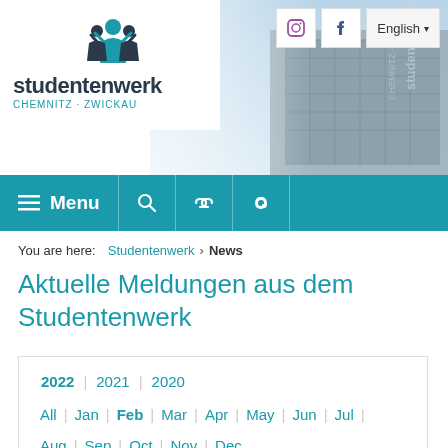[Figure (logo): Studentenwerk Chemnitz-Zwickau logo with stylized people figures above the text]
[Figure (photo): Photograph of Studentenwerk building exterior with the word 'studentenwerk' visible on the facade]
≡ Menu
You are here:  Studentenwerk > News
Aktuelle Meldungen aus dem Studentenwerk
2022 | 2021 | 2020
All | Jan | Feb | Mar | Apr | May | Jun | Jul | Aug | Sep | Oct | Nov | Dec